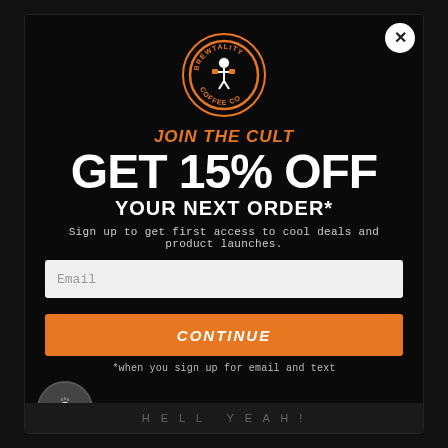[Figure (logo): Brewtality Coffee Co circular logo with skeleton holding coffee cups]
JOIN THE CULT
GET 15% OFF
YOUR NEXT ORDER*
Sign up to get first access to cool deals and product launches.
Email
CONTINUE
*when you sign up for email and text
HELL YEAH!